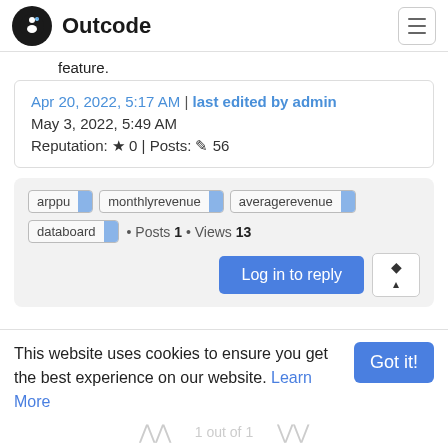Outcode
feature.
Apr 20, 2022, 5:17 AM | last edited by admin
May 3, 2022, 5:49 AM
Reputation: ★ 0 | Posts: ✏ 56
arppu  monthlyrevenue  averagerevenue  databoard  · Posts 1 · Views 13
Log in to reply
This website uses cookies to ensure you get the best experience on our website. Learn More
Got it!
1 out of 1